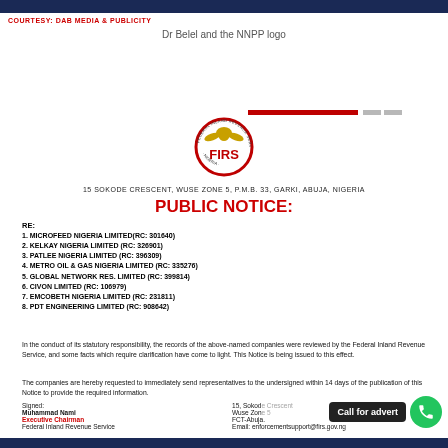COURTESY: DAB MEDIA & PUBLICITY
Dr Belel and the NNPP logo
[Figure (logo): FIRS (Federal Inland Revenue Service) circular logo with eagle emblem]
15 SOKODE CRESCENT, WUSE ZONE 5, P.M.B. 33, GARKI, ABUJA, NIGERIA
PUBLIC NOTICE:
RE:
1. MICROFEED NIGERIA LIMITED(RC: 301640)
2. KELKAY NIGERIA LIMITED (RC: 326901)
3. PATLEE NIGERIA LIMITED (RC: 396309)
4. METRO OIL & GAS NIGERIA LIMITED (RC: 335276)
5. GLOBAL NETWORK RES. LIMITED (RC: 399814)
6. CIVON LIMITED (RC: 106979)
7. EMCOBETH NIGERIA LIMITED (RC: 231811)
8. PDT ENGINEERING LIMITED (RC: 908642)
In the conduct of its statutory responsibility, the records of the above-named companies were reviewed by the Federal Inland Revenue Service, and some facts which require clarification have come to light. This Notice is being issued to this effect.
The companies are hereby requested to immediately send representatives to the undersigned within 14 days of the publication of this Notice to provide the required information.
Signed:
Muhammad Nami
Executive Chairman
Federal Inland Revenue Service
15, Sokode Crescent
Wuse Zone 5
FCT-Abuja.
Email: enforcementsupport@firs.gov.ng